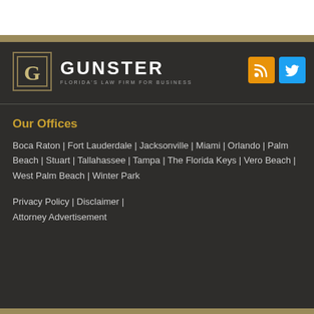[Figure (logo): Gunster law firm logo — stylized G in a box with GUNSTER text and tagline 'FLORIDA'S LAW FIRM FOR BUSINESS']
[Figure (infographic): RSS feed icon (orange) and Twitter bird icon (blue) social media buttons]
Our Offices
Boca Raton | Fort Lauderdale | Jacksonville | Miami | Orlando | Palm Beach | Stuart | Tallahassee | Tampa | The Florida Keys | Vero Beach | West Palm Beach | Winter Park
Privacy Policy | Disclaimer | Attorney Advertisement